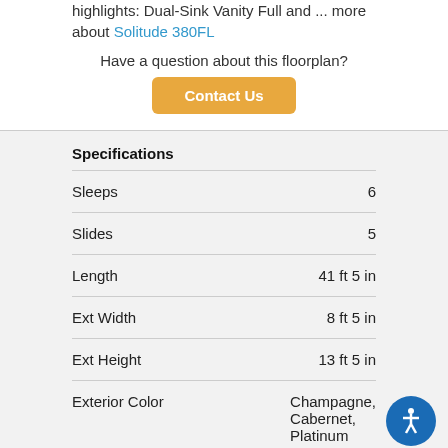highlights: Dual-Sink Vanity Full and ... more about Solitude 380FL
Have a question about this floorplan?
Contact Us
Specifications
|  |  |
| --- | --- |
| Sleeps | 6 |
| Slides | 5 |
| Length | 41 ft 5 in |
| Ext Width | 8 ft 5 in |
| Ext Height | 13 ft 5 in |
| Exterior Color | Champagne, Cabernet, Platinum |
| Hitch Weight | 3052 lbs |